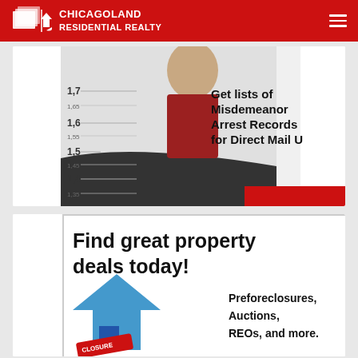CHICAGOLAND RESIDENTIAL REALTY
[Figure (infographic): Ad showing a bald man with height measurement lines and text: Get lists of Misdemeanor Arrest Records for Direct Mail U]
[Figure (infographic): Ad showing Find great property deals today! with a blue house and text: Preforeclosures, Auctions, REOs, and more.]